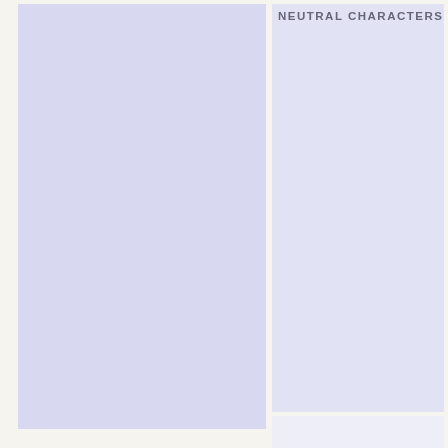NEUTRAL CHARACTERS
[Figure (other): Two-column layout with lavender/blue-tinted rectangular blocks. Left column contains a large blue-lavender rectangle. Right column contains a lighter lavender rectangle with a section header 'NEUTRAL CHARACTERS' at the top, and a lighter block at the bottom.]